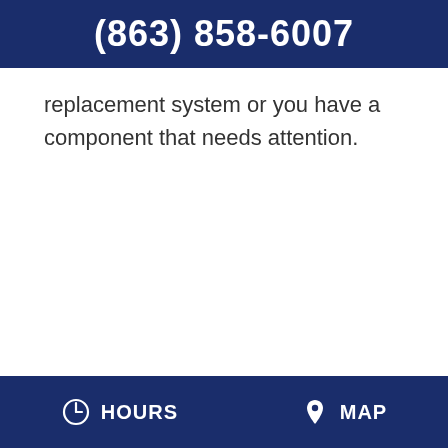(863) 858-6007
replacement system or you have a component that needs attention.
HOURS   MAP